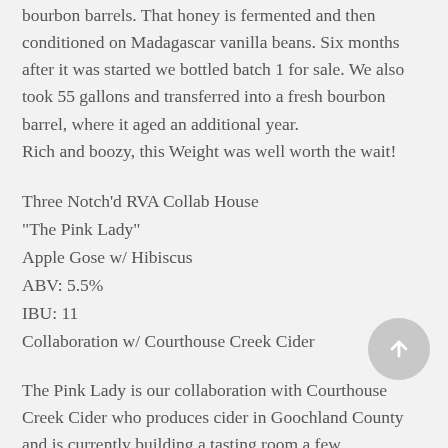bourbon barrels. That honey is fermented and then conditioned on Madagascar vanilla beans. Six months after it was started we bottled batch 1 for sale. We also took 55 gallons and transferred into a fresh bourbon barrel, where it aged an additional year.
Rich and boozy, this Weight was well worth the wait!
Three Notch'd RVA Collab House
“The Pink Lady”
Apple Gose w/ Hibiscus
ABV: 5.5%
IBU: 11
Collaboration w/ Courthouse Creek Cider
The Pink Lady is our collaboration with Courthouse Creek Cider who produces cider in Goochland County and is currently building a tasting room a few